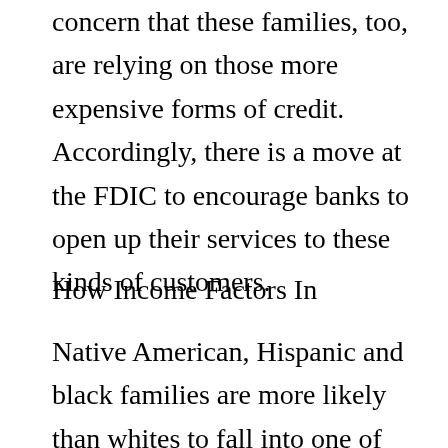concern that these families, too, are relying on those more expensive forms of credit. Accordingly, there is a move at the FDIC to encourage banks to open up their services to these kinds of customers.
How Income Factors In
Native American, Hispanic and black families are more likely than whites to fall into one of these two categories. In addition,